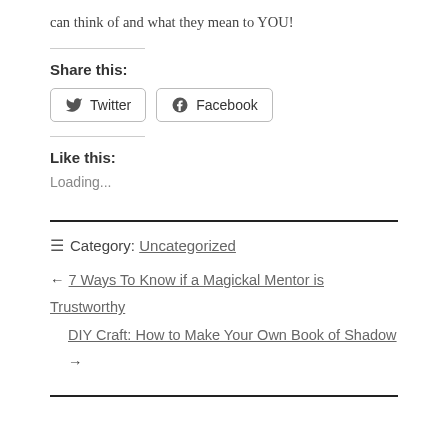can think of and what they mean to YOU!
Share this:
Twitter  Facebook
Like this:
Loading...
≡ Category: Uncategorized
← 7 Ways To Know if a Magickal Mentor is Trustworthy
DIY Craft: How to Make Your Own Book of Shadow →